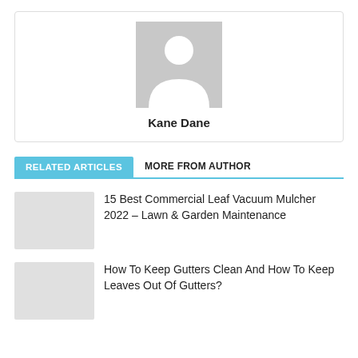[Figure (illustration): Generic user avatar placeholder: gray square background with white silhouette of a person (circle head, rounded body)]
Kane Dane
RELATED ARTICLES    MORE FROM AUTHOR
15 Best Commercial Leaf Vacuum Mulcher 2022 – Lawn & Garden Maintenance
How To Keep Gutters Clean And How To Keep Leaves Out Of Gutters?